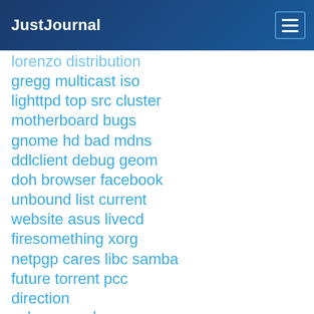JustJournal
lorenzo distribution
gregg multicast iso
lighttpd top src cluster
motherboard bugs
gnome hd bad mdns
ddlclient debug geom
doh browser facebook
unbound list current
website asus livecd
firesomething xorg
netpgp cares libc samba
future torrent pcc
direction
mdnsresponder os cvs
updates libdispatch
apple desktop ati gcd